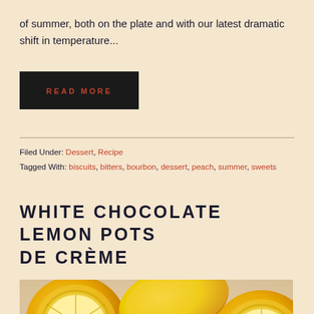of summer, both on the plate and with our latest dramatic shift in temperature...
READ MORE
Filed Under: Dessert, Recipe
Tagged With: biscuits, bitters, bourbon, dessert, peach, summer, sweets
WHITE CHOCOLATE LEMON POTS DE CRÈME
[Figure (photo): Close-up photo of halved lemons on a surface, showing yellow citrus flesh and rinds]